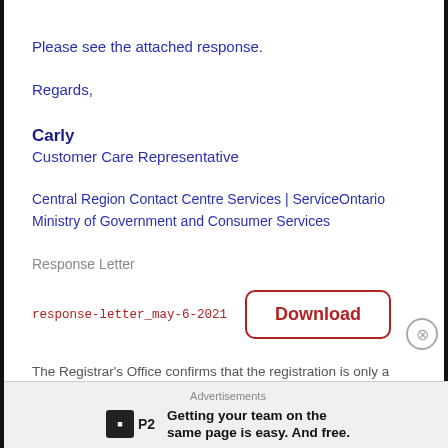Please see the attached response.
Regards,
Carly
Customer Care Representative
Central Region Contact Centre Services | ServiceOntario
Ministry of Government and Consumer Services
Response Letter
response-letter_may-6-2021
Download
The Registrar's Office confirms that the registration is only a
Advertisements
P2  Getting your team on the same page is easy. And free.